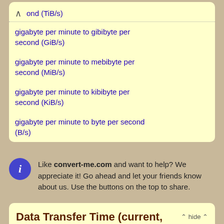ond (TiB/s)
gigabyte per minute to gibibyte per second (GiB/s)
gigabyte per minute to mebibyte per second (MiB/s)
gigabyte per minute to kibibyte per second (KiB/s)
gigabyte per minute to byte per second (B/s)
Like convert-me.com and want to help? We appreciate it! Go ahead and let your friends know about us. Use the buttons on the top to share.
Data Transfer Time (current, 1000-based)
Current definition of kilobyte is 1000 bytes, not 1024 bytes as it was commonly considered earlier. This section provides conversion for